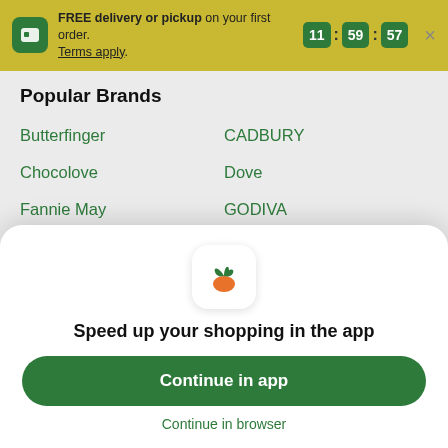FREE delivery or pickup on your first order. Terms apply. 11:59:57
Popular Brands
Butterfinger
CADBURY
Chocolove
Dove
Fannie May
GODIVA
Ghirardelli
Hershey
Hershey's
KitKat
Lake Champlain
Lindt
Chocolates
[Figure (logo): Instacart carrot app icon]
Speed up your shopping in the app
Continue in app
Continue in browser